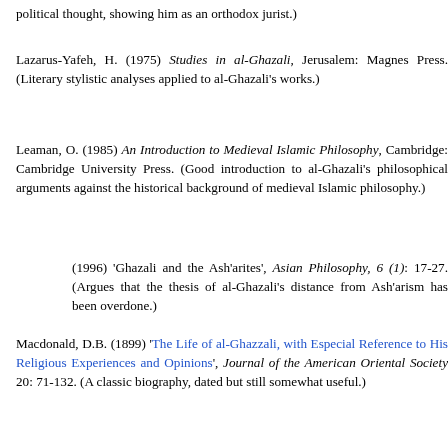political thought, showing him as an orthodox jurist.)
Lazarus-Yafeh, H. (1975) Studies in al-Ghazali, Jerusalem: Magnes Press. (Literary stylistic analyses applied to al-Ghazali's works.)
Leaman, O. (1985) An Introduction to Medieval Islamic Philosophy, Cambridge: Cambridge University Press. (Good introduction to al-Ghazali's philosophical arguments against the historical background of medieval Islamic philosophy.)
(1996) 'Ghazali and the Ash'arites', Asian Philosophy, 6 (1): 17-27. (Argues that the thesis of al-Ghazali's distance from Ash'arism has been overdone.)
Macdonald, D.B. (1899) 'The Life of al-Ghazzali, with Especial Reference to His Religious Experiences and Opinions', Journal of the American Oriental Society 20: 71-132. (A classic biography, dated but still somewhat useful.)
Marmura, M.E. (1995) 'Ghazalian Causes and Intermediaries', Journal of the American Oriental Society 115: 89-100. (Argues against the great influence of philosophy on al-Ghazali, the author attempts to demonstrate al-Ghazali's commitment to Sufism.)
Nakamura, Kojiro (1985) 'An Approach to Ghazali's Conversion'